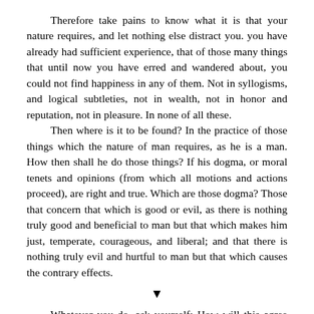Therefore take pains to know what it is that your nature requires, and let nothing else distract you. you have already had sufficient experience, that of those many things that until now you have erred and wandered about, you could not find happiness in any of them. Not in syllogisms, and logical subtleties, not in wealth, not in honor and reputation, not in pleasure. In none of all these.

Then where is it to be found? In the practice of those things which the nature of man requires, as he is a man. How then shall he do those things? If his dogma, or moral tenets and opinions (from which all motions and actions proceed), are right and true. Which are those dogma? Those that concern that which is good or evil, as there is nothing truly good and beneficial to man but that which makes him just, temperate, courageous, and liberal; and that there is nothing truly evil and hurtful to man but that which causes the contrary effects.
▼
Whatever you do, ask yourself; How will this agree with me when it's done? Shall I have no